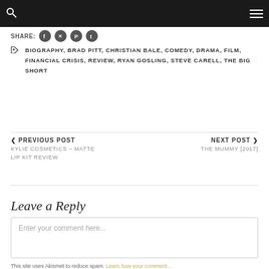Navigation bar with search and menu icons
SHARE: [social icons: Facebook, Twitter, Pinterest, Tumblr]
BIOGRAPHY, BRAD PITT, CHRISTIAN BALE, COMEDY, DRAMA, FILM, FINANCIAL CRISIS, REVIEW, RYAN GOSLING, STEVE CARELL, THE BIG SHORT
< PREVIOUS POST
KYLIE COSMETICS – MATTE LIP KIT REVIEW
NEXT POST >
THE MUMMY [2017]
Leave a Reply
Enter your comment here...
This site uses Akismet to reduce spam. Learn how your comment...